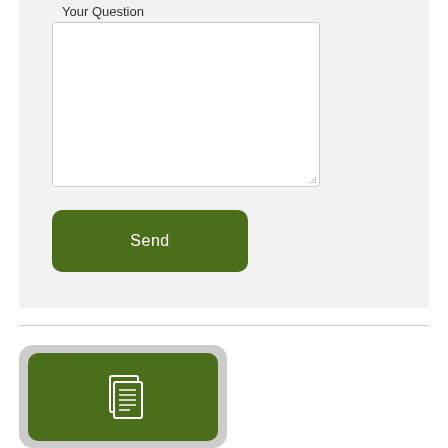Your Question
[Figure (screenshot): A text area input box for entering a question, with a resize handle in the bottom-right corner]
[Figure (screenshot): A green rounded Send button]
[Figure (illustration): A dark olive-green rounded square icon button containing a white document/copy icon (two overlapping pages with lines), set within a light gray outer rounded rectangle]